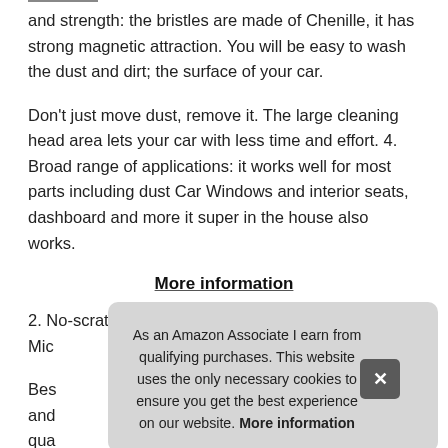and strength: the bristles are made of Chenille, it has strong magnetic attraction. You will be easy to wash the dust and dirt; the surface of your car.
Don't just move dust, remove it. The large cleaning head area lets your car with less time and effort. 4. Broad range of applications: it works well for most parts including dust Car Windows and interior seats, dashboard and more it super in the house also works.
More information
2. No-scratch, safe to use for car paintwork:super soft Mic
Bes and qua
As an Amazon Associate I earn from qualifying purchases. This website uses the only necessary cookies to ensure you get the best experience on our website. More information